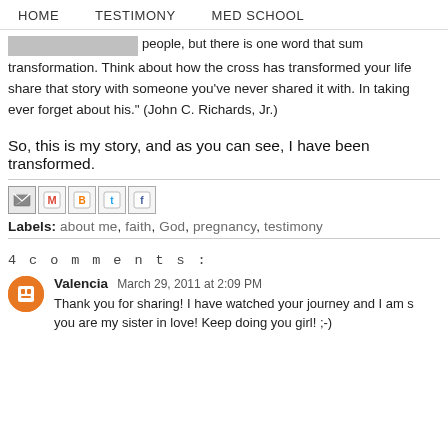HOME   TESTIMONY   MED SCHOOL
[Figure (photo): Partial gray image visible at top left]
people, but there is one word that sums it up for me and that word is transformation. Think about how the cross has transformed your life and then share that story with someone you've never shared it with. In taking his story, you'll never ever forget about his." (John C. Richards, Jr.)
So, this is my story, and as you can see, I have been transformed.
Labels: about me, faith, God, pregnancy, testimony
4 comments:
Valencia March 29, 2011 at 2:09 PM
Thank you for sharing! I have watched your journey and I am so glad you are my sister in love! Keep doing you girl! ;-)